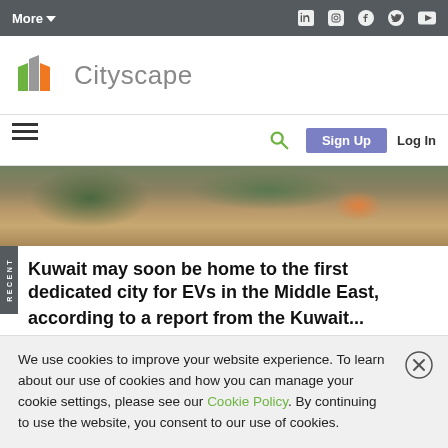More▼  [LinkedIn] [Instagram] [Facebook] [Twitter] [YouTube]
[Figure (logo): Cityscape logo — stylized building icon in green, grey, and orange — with the text 'Cityscape' in grey next to it]
☰  🔍  Sign Up  Log In
[Figure (photo): Aerial photograph of a coastal area with sandy beach, water, trees, and some colorful structures]
Kuwait may soon be home to the first dedicated city for EVs in the Middle East,
We use cookies to improve your website experience. To learn about our use of cookies and how you can manage your cookie settings, please see our Cookie Policy. By continuing to use the website, you consent to our use of cookies.